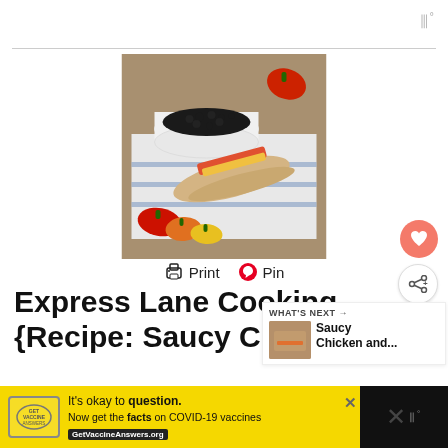W°
[Figure (photo): Food photo showing a bowl of black beans, tacos with vegetables, and colorful peppers on a striped cloth]
Print  Pin
Express Lane Cooking {Recipe: Saucy Chicken... Tacos}
[Figure (infographic): WHAT'S NEXT panel with thumbnail showing Saucy Chicken and...]
It's okay to question. Now get the facts on COVID-19 vaccines  GetVaccineAnswers.org